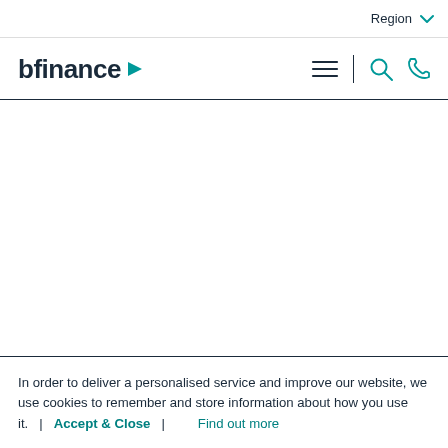Region
[Figure (logo): bfinance logo with teal triangle play-button icon]
In order to deliver a personalised service and improve our website, we use cookies to remember and store information about how you use it.   |   Accept & Close   |   Find out more